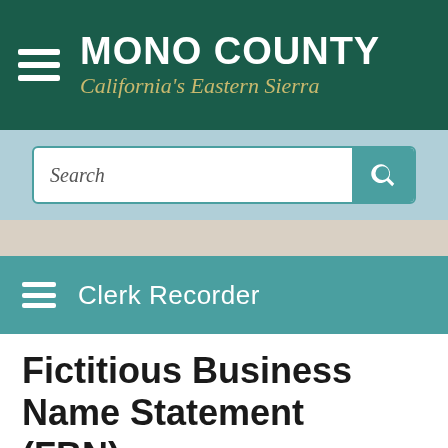MONO COUNTY — California's Eastern Sierra
Search
Clerk Recorder
Fictitious Business Name Statement (FBN)
[Figure (photo): Dark teal/green banner image, likely a landscape or header graphic for the Clerk Recorder page]
Detailed information regarding Fictitious